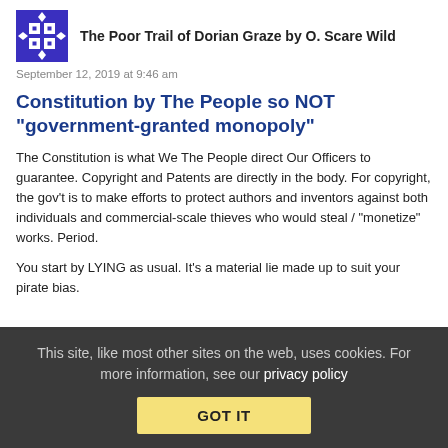The Poor Trail of Dorian Graze by O. Scare Wild
September 12, 2019 at 9:46 am
Constitution by The People so NOT "government-granted monopoly"
The Constitution is what We The People direct Our Officers to guarantee. Copyright and Patents are directly in the body. For copyright, the gov't is to make efforts to protect authors and inventors against both individuals and commercial-scale thieves who would steal / "monetize" works. Period.
You start by LYING as usual. It's a material lie made up to suit your pirate bias.
This site, like most other sites on the web, uses cookies. For more information, see our privacy policy GOT IT